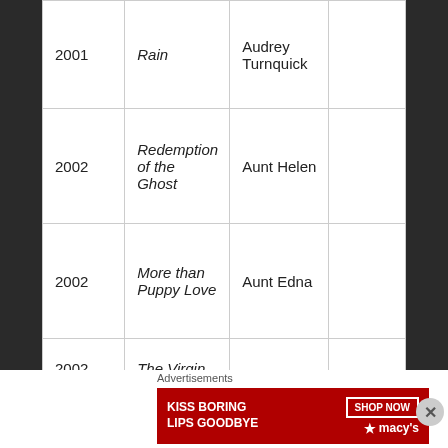| 2001 | Rain | Audrey Turnquick |  |
| 2002 | Redemption of the Ghost | Aunt Helen |  |
| 2002 | More than Puppy Love | Aunt Edna |  |
| 2002 | The Virgin |  |  |
| 2003 | Charlie's | Jobie |  |
Advertisements
[Figure (other): Macy's advertisement banner: 'KISS BORING LIPS GOODBYE' with a SHOP NOW button and Macy's logo with red star, showing a woman's face with red lips.]